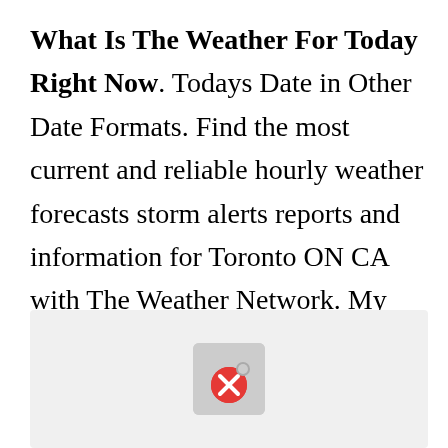What Is The Weather For Today Right Now. Todays Date in Other Date Formats. Find the most current and reliable hourly weather forecasts storm alerts reports and information for Toronto ON CA with The Weather Network. My Cities Personal World Clock. NW -54F calm VMC.
[Figure (other): Advertisement placeholder box with grey background and a red X close button icon in the center]